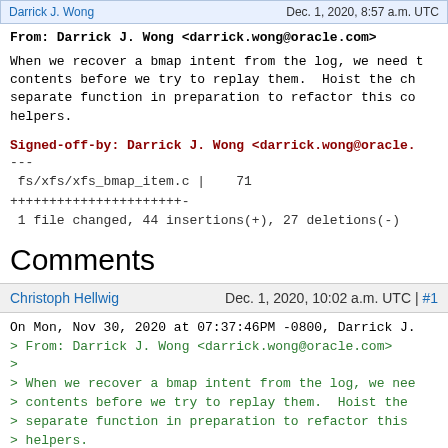Darrick J. Wong   Dec. 1, 2020, 8:57 a.m. UTC
From: Darrick J. Wong <darrick.wong@oracle.com>

When we recover a bmap intent from the log, we need to check their contents before we try to replay them.  Hoist the check into a separate function in preparation to refactor this code with helpers.
Signed-off-by: Darrick J. Wong <darrick.wong@oracle.com>
---
 fs/xfs/xfs_bmap_item.c |   71 +++++++++++++++++++++++-
 1 file changed, 44 insertions(+), 27 deletions(-)
Comments
Christoph Hellwig   Dec. 1, 2020, 10:02 a.m. UTC | #1
On Mon, Nov 30, 2020 at 07:37:46PM -0800, Darrick J.
> From: Darrick J. Wong <darrick.wong@oracle.com>
>
> When we recover a bmap intent from the log, we need
> contents before we try to replay them.  Hoist the c
> separate function in preparation to refactor this c
> helpers.
>
> Signed-off-by: Darrick J. Wong <darrick.wong@oracle

Looks good,